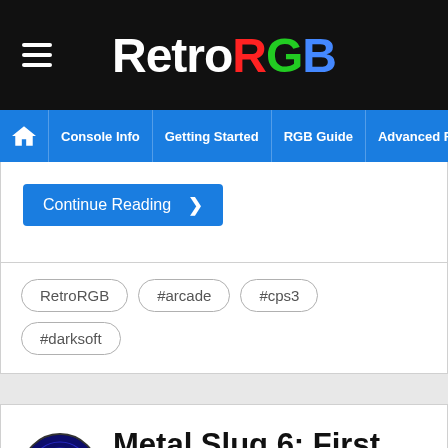RetroRGB
Console Info | Getting Started | RGB Guide | Advanced RGB Info | Ab
Continue Reading >
RetroRGB  #arcade  #cps3  #darksoft
Metal Slug 6: First Atomiswave Arcade Native Port to Dreamcast
Posted on November 1, 2020 by SmokeMonster